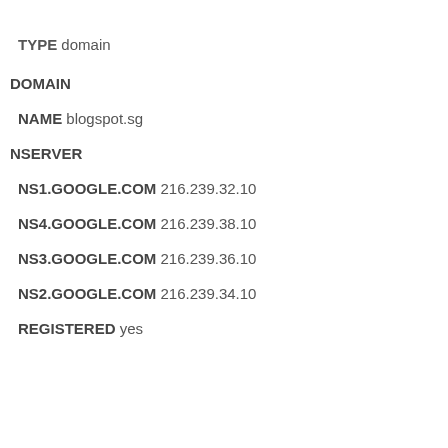TYPE domain
DOMAIN
NAME blogspot.sg
NSERVER
NS1.GOOGLE.COM 216.239.32.10
NS4.GOOGLE.COM 216.239.38.10
NS3.GOOGLE.COM 216.239.36.10
NS2.GOOGLE.COM 216.239.34.10
REGISTERED yes